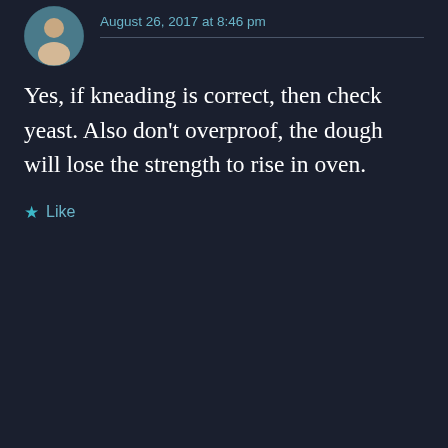August 26, 2017 at 8:46 pm
Yes, if kneading is correct, then check yeast. Also don't overproof, the dough will lose the strength to rise in oven.
★ Like
JENNY says: May 10, 2020 at 12:39 am
Can I ask why my dough
Advertisements